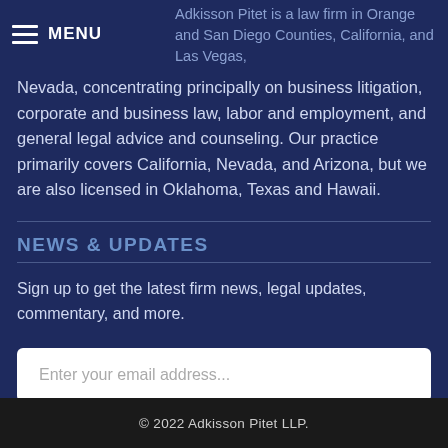MENU
Adkisson Pitet is a law firm in Orange and San Diego Counties, California, and Las Vegas, Nevada, concentrating principally on business litigation, corporate and business law, labor and employment, and general legal advice and counseling. Our practice primarily covers California, Nevada, and Arizona, but we are also licensed in Oklahoma, Texas and Hawaii.
NEWS & UPDATES
Sign up to get the latest firm news, legal updates, commentary, and more.
© 2022 Adkisson Pitet LLP.